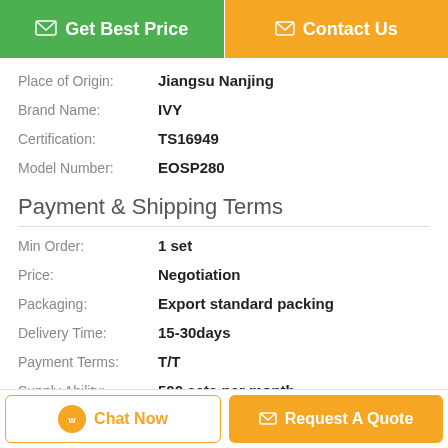[Figure (other): Two CTA buttons: 'Get Best Price' (green) and 'Contact Us' (orange)]
Place of Origin: Jiangsu Nanjing
Brand Name: IVY
Certification: TS16949
Model Number: EOSP280
Payment & Shipping Terms
Min Order: 1 set
Price: Negotiation
Packaging: Export standard packing
Delivery Time: 15-30days
Payment Terms: T/T
Supply Ability: 500 sets per month
Description
[Figure (other): Bottom action bar with 'Chat Now' (outlined orange) and 'Request A Quote' (filled orange) buttons]